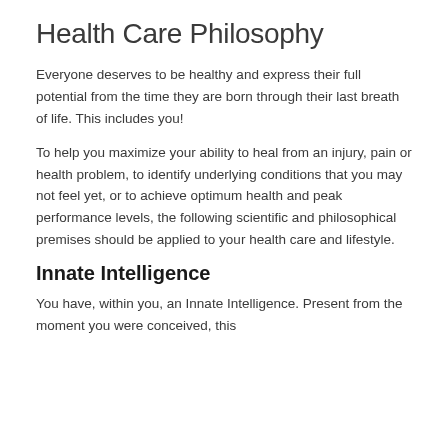Health Care Philosophy
Everyone deserves to be healthy and express their full potential from the time they are born through their last breath of life. This includes you!
To help you maximize your ability to heal from an injury, pain or health problem, to identify underlying conditions that you may not feel yet, or to achieve optimum health and peak performance levels, the following scientific and philosophical premises should be applied to your health care and lifestyle.
Innate Intelligence
You have, within you, an Innate Intelligence. Present from the moment you were conceived, this...